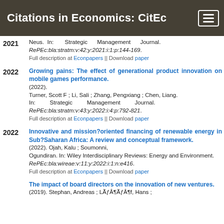Citations in Economics: CitEc
2021 Neus. In: Strategic Management Journal. RePEc:bla:stratm:v:42:y:2021:i:1:p:144-169. Full description at Econpapers || Download paper
Growing pains: The effect of generational product innovation on mobile games performance. (2022). Turner, Scott F ; Li, Sali ; Zhang, Pengxiang ; Chen, Liang. In: Strategic Management Journal. RePEc:bla:stratm:v:43:y:2022:i:4:p:792-821. Full description at Econpapers || Download paper
Innovative and mission?oriented financing of renewable energy in Sub?Saharan Africa: A review and conceptual framework. (2022). Ojah, Kalu ; Soumonni, Ogundiran. In: Wiley Interdisciplinary Reviews: Energy and Environment. RePEc:bla:wireae:v:11:y:2022:i:1:n:e416. Full description at Econpapers || Download paper
The impact of board directors on the innovation of new ventures. (2019). Stephan, Andreas ; LÃƒÂ¶ÃƒÂ¶f, Hans ;